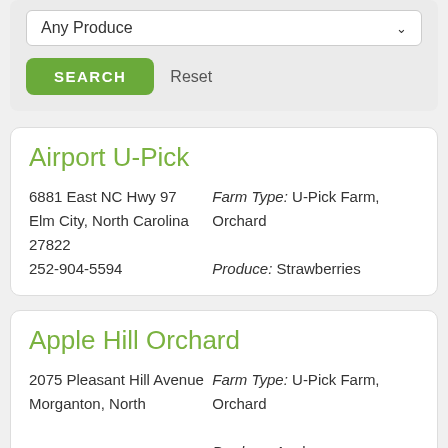Any Produce
SEARCH   Reset
Airport U-Pick
6881 East NC Hwy 97
Elm City, North Carolina 27822
252-904-5594
Farm Type: U-Pick Farm, Orchard
Produce: Strawberries
Apple Hill Orchard
2075 Pleasant Hill Avenue
Morganton, North
Farm Type: U-Pick Farm, Orchard
Produce: Apples